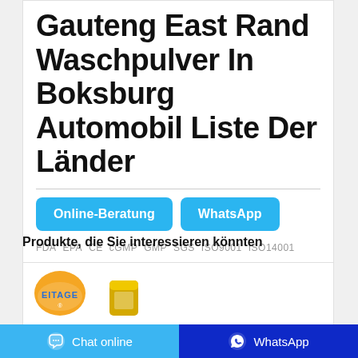Gauteng East Rand Waschpulver In Boksburg Automobil Liste Der Länder
FDA  EPA  CE  cGMP  GMP  SGS  ISO9001  ISO14001
Produkte, die Sie interessieren könnten
[Figure (logo): Product logo with orange circle and text 'EITAGE']
[Figure (photo): Gold colored product container]
Chat online  WhatsApp